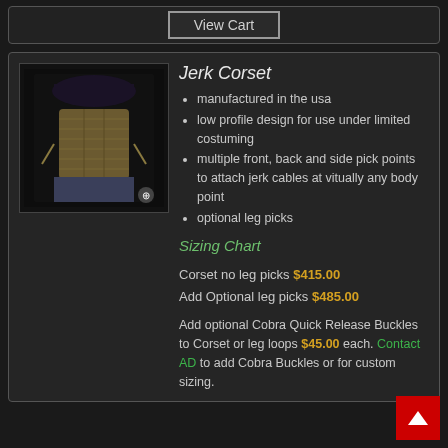View Cart
Jerk Corset
manufactured in the usa
low profile design for use under limited costuming
multiple front, back and side pick points to attach jerk cables at vitually any body point
optional leg picks
Sizing Chart
Corset no leg picks $415.00
Add Optional leg picks $485.00
Add optional Cobra Quick Release Buckles to Corset or leg loops $45.00 each. Contact AD to add Cobra Buckles or for custom sizing.